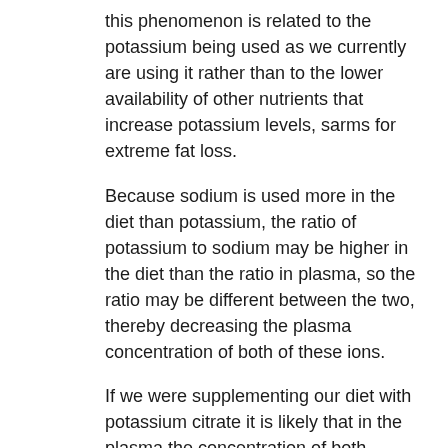this phenomenon is related to the potassium being used as we currently are using it rather than to the lower availability of other nutrients that increase potassium levels, sarms for extreme fat loss.
Because sodium is used more in the diet than potassium, the ratio of potassium to sodium may be higher in the diet than the ratio in plasma, so the ratio may be different between the two, thereby decreasing the plasma concentration of both of these ions.
If we were supplementing our diet with potassium citrate it is likely that in the plasma the concentration of both potassium citrate and sodium may be higher than they are in the diet. There are several reasons for such a discrepancy, sarms for losing belly fat. First, as mentioned above, we are using an extra large amount of potassium, effects